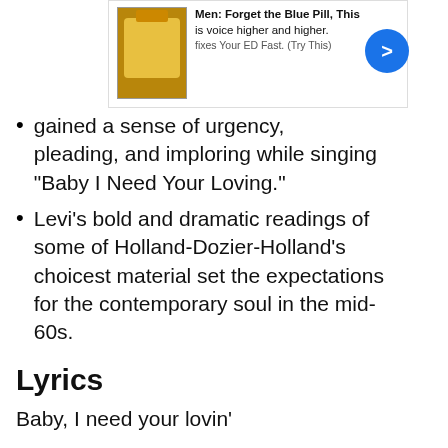[Figure (other): Advertisement banner overlay: image of a bottle with yellow label, text 'Men: Forget the Blue Pill, This Fixes Your ED Fast (Try This)' with a blue arrow button]
gained a sense of urgency, pleading, and imploring while singing “Baby I Need Your Loving.”
Levi’s bold and dramatic readings of some of Holland-Dozier-Holland’s choicest material set the expectations for the contemporary soul in the mid-60s.
Lyrics
Baby, I need your lovin’
Baby, I need your lovin’
Although you’re never near
Your voice I often hear